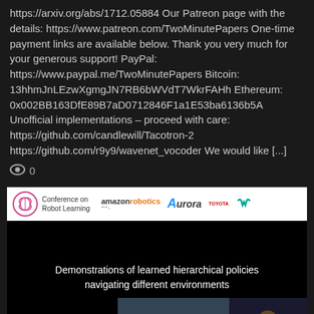https://arxiv.org/abs/1712.05884 Our Patreon page with the details: https://www.patreon.com/TwoMinutePapers One-time payment links are available below. Thank you very much for your generous support! PayPal: https://www.paypal.me/TwoMinutePapers Bitcoin: 13hhmJnLEzwXgmgJN7RB6bWVdT7WkrFAHh Ethereum: 0x002BB163DfE89B7aD0712846F1a1E53ba6136b5A Unofficial implementations – proceed with care: https://github.com/candlewill/Tacotron-2 https://github.com/r9y9/wavenet_vocoder We would like [...]
👁 0
[Figure (screenshot): A video thumbnail showing a Conference on Robot Learning presentation with sponsor logos (Amazon Robotics, Aurora, Toyota, Waymo) and a slide titled 'Demonstrations of learned hierarchical policies navigating different environments' with robot navigation images and a speaker in the corner.]